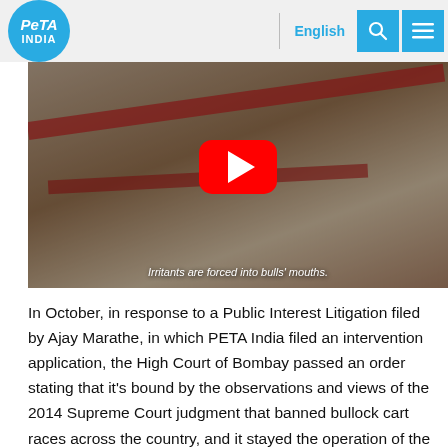PETA INDIA | English
[Figure (photo): Video thumbnail showing a bull with red straps and a person's hands, with subtitle text 'Irritants are forced into bulls' mouths.' and a YouTube play button overlay.]
In October, in response to a Public Interest Litigation filed by Ajay Marathe, in which PETA India filed an intervention application, the High Court of Bombay passed an order stating that it's bound by the observations and views of the 2014 Supreme Court judgment that banned bullock cart races across the country, and it stayed the operation of the Prevention of Cruelty to Animals (Maharashtra Amendment) Act, 2017, which aims to allow bullock cart races in the state. The High Court pointed out that the Supreme Court